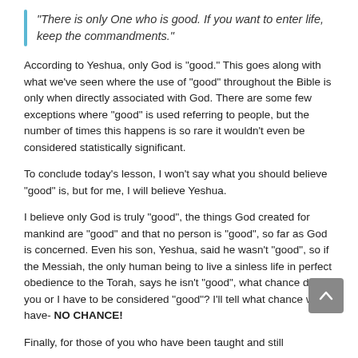“There is only One who is good. If you want to enter life, keep the commandments.”
According to Yeshua, only God is “good.” This goes along with what we’ve seen where the use of “good” throughout the Bible is only when directly associated with God. There are some few exceptions where “good” is used referring to people, but the number of times this happens is so rare it wouldn’t even be considered statistically significant.
To conclude today’s lesson, I won’t say what you should believe “good” is, but for me, I will believe Yeshua.
I believe only God is truly “good”, the things God created for mankind are “good” and that no person is “good”, so far as God is concerned. Even his son, Yeshua, said he wasn’t “good”, so if the Messiah, the only human being to live a sinless life in perfect obedience to the Torah, says he isn’t “good”, what chance do you or I have to be considered “good”? I’ll tell what chance we have- NO CHANCE!
Finally, for those of you who have been taught and still